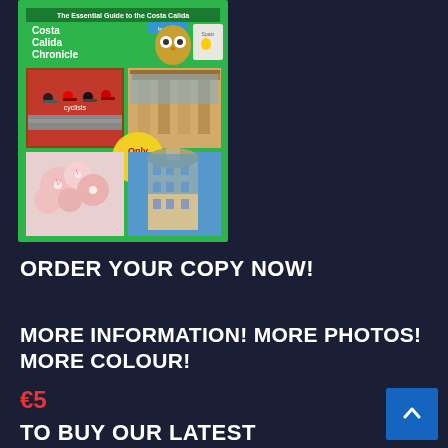[Figure (illustration): Magazine cover of Costa Calida Chronicle Issue 2 with green border, showing cyclists, ancient ruins, almond blossoms, and a building, with a yellow starburst saying 'Only 5€']
ORDER YOUR COPY NOW!
MORE INFORMATION! MORE PHOTOS! MORE COLOUR!
€5
TO BUY OUR LATEST "ESSENTIAL